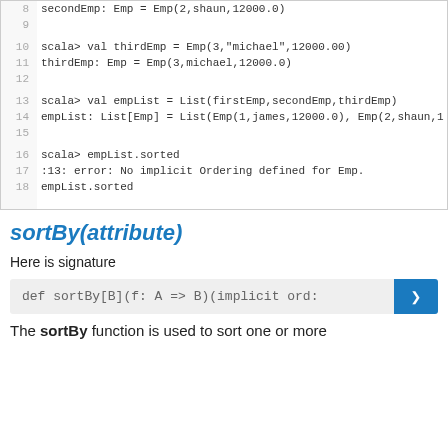[Figure (screenshot): Code editor showing Scala REPL output, lines 8-18, with line numbers on left and code on right. Shows secondEmp, thirdEmp creation and empList sorted error.]
sortBy(attribute)
Here is signature
[Figure (screenshot): Code snippet showing: def sortBy[B](f: A => B)(implicit ord: with blue button on right]
The sortBy function is used to sort one or more